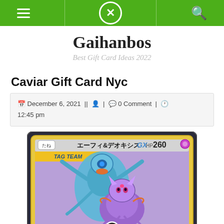Navigation bar with menu, logo (X circle), and search icons
Gaihanbos
Best Gift Card Ideas 2022
Caviar Gift Card Nyc
December 6, 2021 || | 0 Comment | 12:45 pm
[Figure (photo): Japanese Pokemon TAG TEAM card featuring Espeon & Deoxys GX with HP 260, showing two Pokemon characters on a purple background with yellow card border. Text shows たね エーフィ&デオキシス GX HP 260 and TAG TEAM label.]